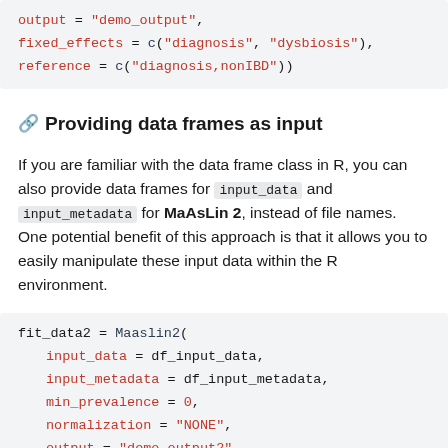[Figure (other): Code block showing R code: output = 'demo_output', fixed_effects = c('diagnosis', 'dysbiosis'), reference = c('diagnosis,nonIBD'))]
🔗 Providing data frames as input
If you are familiar with the data frame class in R, you can also provide data frames for input_data and input_metadata for MaAsLin 2, instead of file names. One potential benefit of this approach is that it allows you to easily manipulate these input data within the R environment.
[Figure (other): Code block showing R code: fit_data2 = Maaslin2( input_data = df_input_data, input_metadata = df_input_metadata, min_prevalence = 0, normalization = 'NONE', output = 'demo_output2', fixed_effects = c('diagnosis', 'dysbiosis'),]